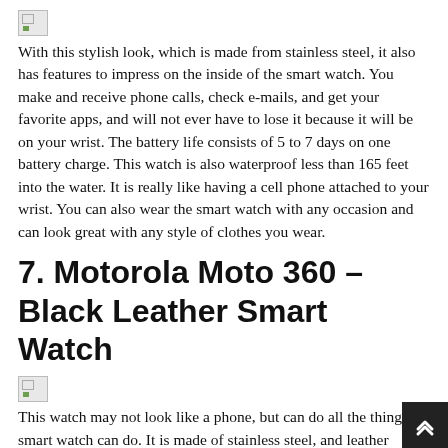[Figure (illustration): Small broken/placeholder image icon at top of page]
With this stylish look, which is made from stainless steel, it also has features to impress on the inside of the smart watch. You make and receive phone calls, check e-mails, and get your favorite apps, and will not ever have to lose it because it will be on your wrist. The battery life consists of 5 to 7 days on one battery charge. This watch is also waterproof less than 165 feet into the water. It is really like having a cell phone attached to your wrist. You can also wear the smart watch with any occasion and can look great with any style of clothes you wear.
7. Motorola Moto 360 – Black Leather Smart Watch
[Figure (illustration): Small broken/placeholder image icon before second text block]
This watch may not look like a phone, but can do all the things a smart watch can do. It is made of stainless steel, and leather wristband. It also can respond to your voice. Just speak to the watch and it will give the information you need. This watch comes with a wireless charging dock, and a wall charger as well. The thing it can't do is voice calls, browse the web, or type on a great keyboard, but people love this kind of smart watch, because it can do everything else.